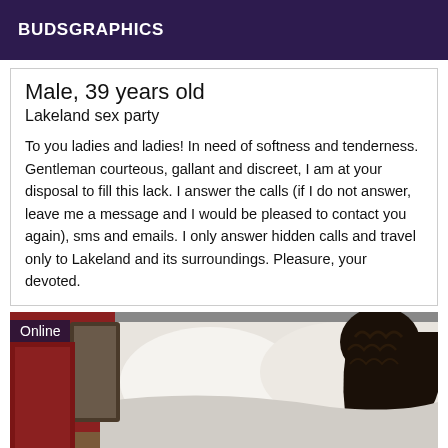BUDSGRAPHICS
Male, 39 years old
Lakeland sex party
To you ladies and ladies! In need of softness and tenderness. Gentleman courteous, gallant and discreet, I am at your disposal to fill this lack. I answer the calls (if I do not answer, leave me a message and I would be pleased to contact you again), sms and emails. I only answer hidden calls and travel only to Lakeland and its surroundings. Pleasure, your devoted.
[Figure (photo): A person with dark curly hair lying face-down on a bed with white pillows and bedding, with a red surface visible on the left side. An 'Online' badge appears in the top-left corner of the image.]